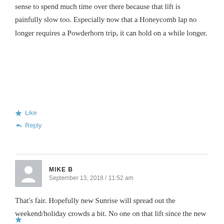sense to spend much time over there because that lift is painfully slow too. Especially now that a Honeycomb lap no longer requires a Powderhorn trip, it can hold on a while longer.
★ Like
↩ Reply
MIKE B
September 13, 2018 / 11:52 am
That's fair. Hopefully new Sunrise will spread out the weekend/holiday crowds a bit. No one on that lift since the new Summit lift was put in with direct access from Apex.